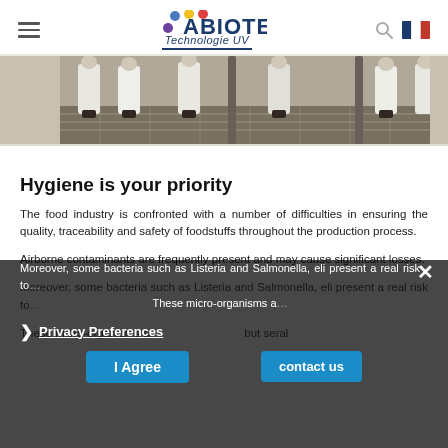ABIOTEC Technologie UV
[Figure (photo): Workers in white coats standing at a production line with metal grating floor mats]
Hygiene is your priority
The food industry is confronted with a number of difficulties in ensuring the quality, traceability and safety of foodstuffs throughout the production process.
Airborne contaminants are frequently present and may cause significant losses.
Moreover, some bacteria such as Listeria and Salmonella, eli present a real risk to...
These micro-organisms are... but seral
Privacy Preferences · I Agree · contact us